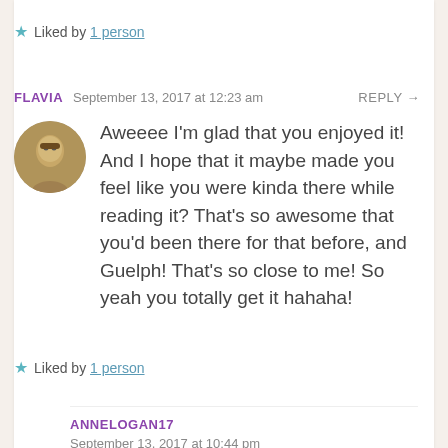★ Liked by 1 person
FLAVIA   September 13, 2017 at 12:23 am   REPLY →
Aweeee I'm glad that you enjoyed it! And I hope that it maybe made you feel like you were kinda there while reading it? That's so awesome that you'd been there for that before, and Guelph! That's so close to me! So yeah you totally get it hahaha!
★ Liked by 1 person
ANNELOGAN17
September 13, 2017 at 10:44 pm